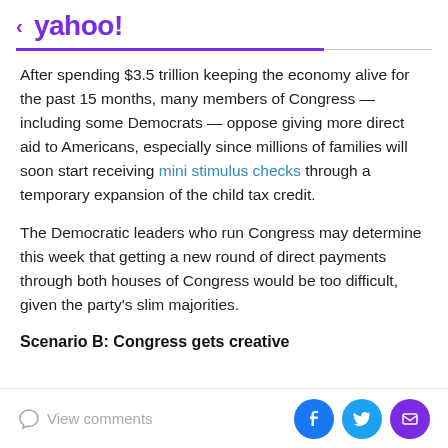< yahoo!
After spending $3.5 trillion keeping the economy alive for the past 15 months, many members of Congress — including some Democrats — oppose giving more direct aid to Americans, especially since millions of families will soon start receiving mini stimulus checks through a temporary expansion of the child tax credit.
The Democratic leaders who run Congress may determine this week that getting a new round of direct payments through both houses of Congress would be too difficult, given the party's slim majorities.
Scenario B: Congress gets creative
View comments